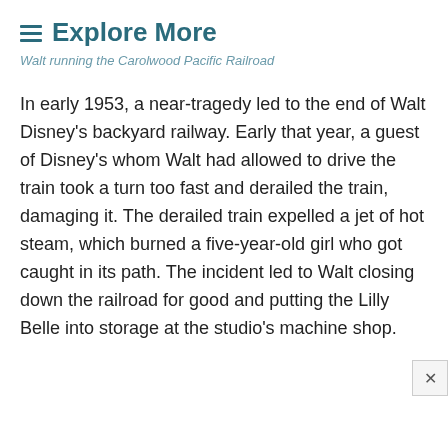Explore More
Walt running the Carolwood Pacific Railroad
In early 1953, a near-tragedy led to the end of Walt Disney's backyard railway. Early that year, a guest of Disney's whom Walt had allowed to drive the train took a turn too fast and derailed the train, damaging it. The derailed train expelled a jet of hot steam, which burned a five-year-old girl who got caught in its path. The incident led to Walt closing down the railroad for good and putting the Lilly Belle into storage at the studio's machine shop.